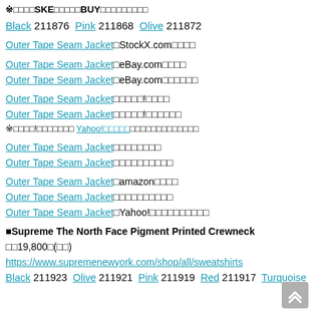※□□□□SKE□□□□□BUY□□□□□□□□□
Black 211876 Pink 211868 Olive 211872
Outer Tape Seam Jacket□StockX.com□□□□
Outer Tape Seam Jacket□eBay.com□□□□
Outer Tape Seam Jacket□eBay.com□□□□□□
Outer Tape Seam Jacket□□□□□!□□□□
Outer Tape Seam Jacket□□□□□!□□□□□□
※□□□□!□□□□□□□ Yahoo!□□□□□□□□□□□□□□□□□
Outer Tape Seam Jacket□□□□□□□□
Outer Tape Seam Jacket□□□□□□□□□□
Outer Tape Seam Jacket□amazon□□□□
Outer Tape Seam Jacket□□□□□□□□□□
Outer Tape Seam Jacket□Yahoo!□□□□□□□□□□
■Supreme The North Face Pigment Printed Crewneck □□19,800□(□□)
https://www.supremenewyork.com/shop/all/sweatshirts
Black 211923 Olive 211921 Pink 211919 Red 211917 Turquoise